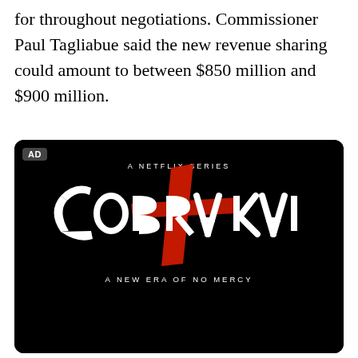for throughout negotiations. Commissioner Paul Tagliabue said the new revenue sharing could amount to between $850 million and $900 million.
[Figure (illustration): Advertisement for Cobra Kai Netflix series. Black background with 'A NETFLIX SERIES' text at top, large stylized 'COBRA KAI' logo in white and red brushstroke lettering with a red diagonal slash graphic, and tagline 'A NEW ERA OF NO MERCY' below. Small 'AD' label in upper left corner.]